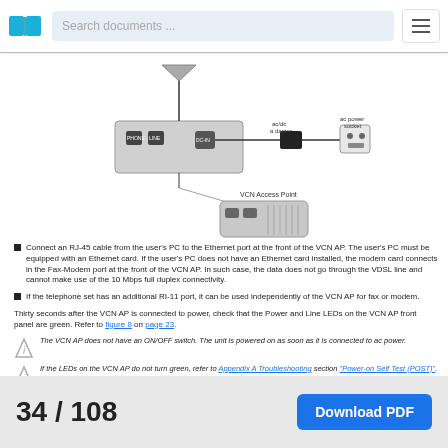Search documents ...
[Figure (schematic): Network connection diagram showing a VCN Access Point connected to ac/dc adapter and ac power socket, with PHONE, LINE and DC-IN ports labeled on the device.]
Connect an RJ-45 cable from the user's PC to the Ethernet port at the front of the VCN AP. The user's PC must be equipped with an Ethernet card. If the user's PC does not have an Ethernet card installed, the modem card connects in the Fax-Modem port at the front of the VCN AP. In such case, the data does not go through the VDSL line and cannot make use of the 10 Mbps full duplex connectivity.
If the telephone set has an additional RI-11 port, it can be used independently of the VCN AP for fax or modem.
Thirty seconds after the VCN AP is connected to power, check that the Power and Line LEDs on the VCN AP front panel are green. Refer to figure 8 on page 23.
The VCN AP does not have an ON/OFF switch. The unit is powered on as soon as it is connected to ac power.
If the LEDs on the VCN AP do not turn green, refer to Appendix A Troubleshooting section "Power-on Self Test (POST)".
34 / 108